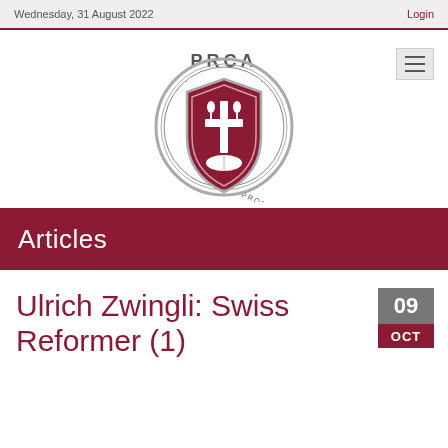Wednesday, 31 August 2022 | Login
[Figure (logo): PRCA Protestant Reformed Churches in America circular logo with shield, cross, tulips and open book]
Articles
Ulrich Zwingli: Swiss Reformer (1)
09 OCT